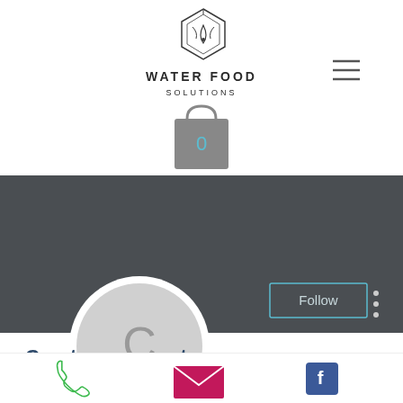[Figure (logo): Water Food Solutions hexagonal logo with plant/water drop icon, text WATER FOOD SOLUTIONS below]
[Figure (illustration): Shopping bag icon in grey with number 0 inside in teal]
[Figure (illustration): Dark grey user profile banner with Follow button (teal border, grey bg) and three-dot menu icon. Below banner is a circular grey avatar with letter C.]
Cryptogames net
0 Followers • 0 Following
[Figure (illustration): White card with chevron down arrow on right side]
[Figure (illustration): Footer bar with green phone icon, pink/red email envelope icon, and blue Facebook icon]